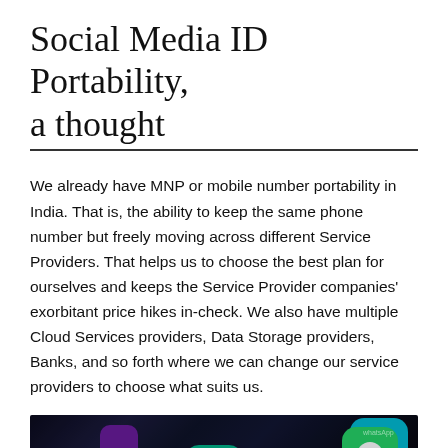Social Media ID Portability, a thought
We already have MNP or mobile number portability in India. That is, the ability to keep the same phone number but freely moving across different Service Providers. That helps us to choose the best plan for ourselves and keeps the Service Provider companies' exorbitant price hikes in-check. We also have multiple Cloud Services providers, Data Storage providers, Banks, and so forth where we can change our service providers to choose what suits us.
[Figure (photo): Close-up photo of a smartphone screen displaying various social media and app icons including Vine (teal V logo), WhatsApp (green), YouTube (red), and Facebook (blue) on a dark background.]